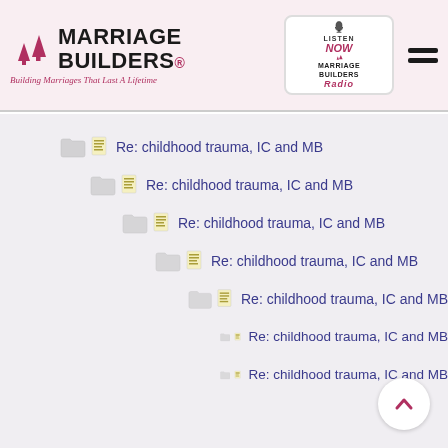Marriage Builders — Building Marriages That Last A Lifetime
Re: childhood trauma, IC and MB
Re: childhood trauma, IC and MB
Re: childhood trauma, IC and MB
Re: childhood trauma, IC and MB
Re: childhood trauma, IC and MB
Re: childhood trauma, IC and MB
Re: childhood trauma, IC and MB